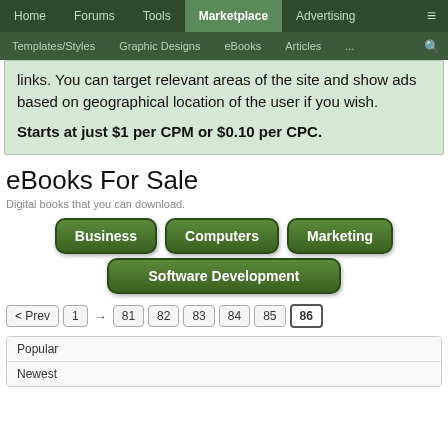Home | Forums | Tools | Marketplace | Advertising
Templates/Styles | Graphic Designs | eBooks | Articles | ...
links. You can target relevant areas of the site and show ads based on geographical location of the user if you wish.

Starts at just $1 per CPM or $0.10 per CPC.
eBooks For Sale
Digital books that you can download.
Business
Computers
Marketing
Software Development
< Prev  1  →  81  82  83  84  85  86
Popular
Newest